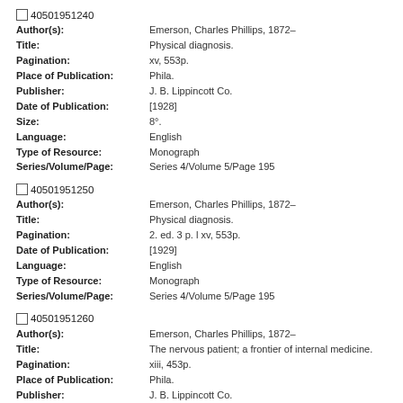40501951240
Author(s): Emerson, Charles Phillips, 1872-
Title: Physical diagnosis.
Pagination: xv, 553p.
Place of Publication: Phila.
Publisher: J. B. Lippincott Co.
Date of Publication: [1928]
Size: 8°.
Language: English
Type of Resource: Monograph
Series/Volume/Page: Series 4/Volume 5/Page 195
40501951250
Author(s): Emerson, Charles Phillips, 1872-
Title: Physical diagnosis.
Pagination: 2. ed. 3 p. l xv, 553p.
Date of Publication: [1929]
Language: English
Type of Resource: Monograph
Series/Volume/Page: Series 4/Volume 5/Page 195
40501951260
Author(s): Emerson, Charles Phillips, 1872-
Title: The nervous patient; a frontier of internal medicine.
Pagination: xiii, 453p.
Place of Publication: Phila.
Publisher: J. B. Lippincott Co.
Date of Publication: [1935]
Size: 8°.